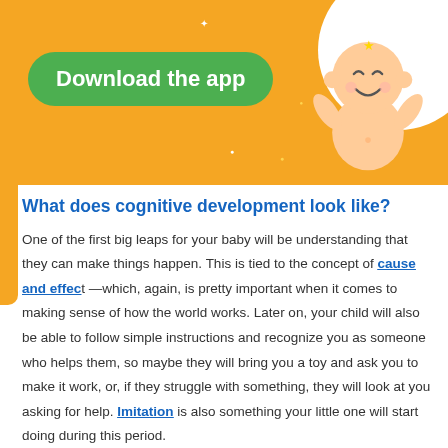[Figure (illustration): Orange banner with green 'Download the app' button, a cartoon baby illustration on the right, white circle background element, decorative stars, and an X close button]
What does cognitive development look like?
One of the first big leaps for your baby will be understanding that they can make things happen. This is tied to the concept of cause and effect —which, again, is pretty important when it comes to making sense of how the world works. Later on, your child will also be able to follow simple instructions and recognize you as someone who helps them, so maybe they will bring you a toy and ask you to make it work, or, if they struggle with something, they will look at you asking for help. Imitation is also something your little one will start doing during this period.